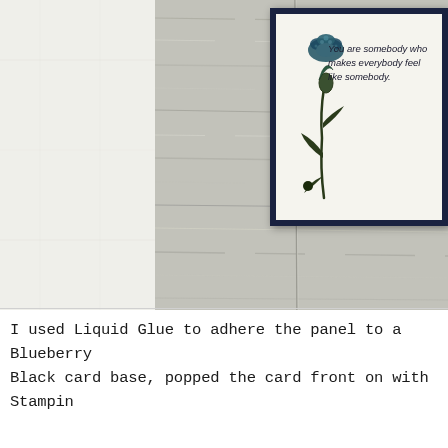[Figure (photo): Photo of a handmade greeting card with a dark navy border, featuring a stamped blue flower and a script sentiment reading 'You are somebody who makes everybody feel like somebody.' Card is placed on a grey wood-grain background with a white textured panel on the left.]
I used Liquid Glue to adhere the panel to a Blueberry Black card base, popped the card front on with Stampin